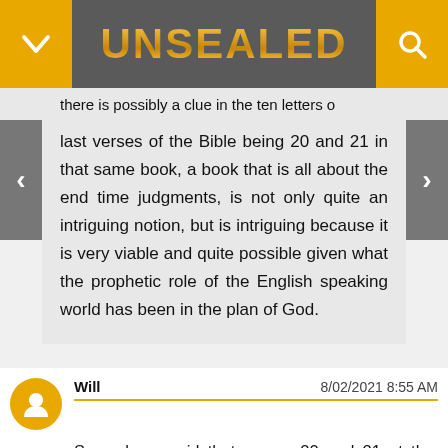UNSEALED
last verses of the Bible being 20 and 21 in that same book, a book that is all about the end time judgments, is not only quite an intriguing notion, but is intriguing because it is very viable and quite possible given what the prophetic role of the English speaking world has been in the plan of God.
Will  8/02/2021 8:55 AM
Some have said that verses 20 and 21 at the closing of the Book of Revelation have no meaning, because chapter and verse were not in the original text. However, God knows the end from the beginning, and He knew the